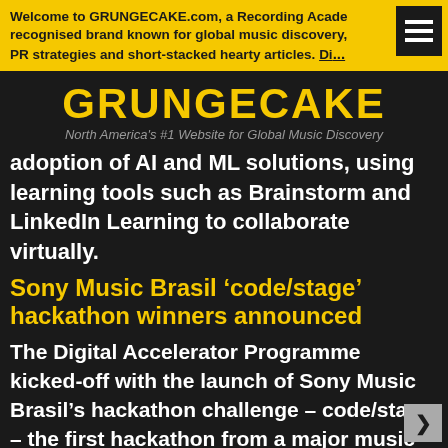Welcome to GRUNGECAKE.com, a Recording Acade recognised brand known for global music discovery, PR strategies and short-stacked hearty articles. DI...
GRUNGECAKE
North America's #1 Website for Global Music Discovery
adoption of AI and ML solutions, using learning tools such as Brainstorm and LinkedIn Learning to collaborate virtually.
Sony Music Brasil ‘code/stage’ hackathon winners announced
The Digital Accelerator Programme kicked-off with the launch of Sony Music Brasil’s hackathon challenge – code/stage – the first hackathon from a major music company ever held in Brasil. With a focus on further